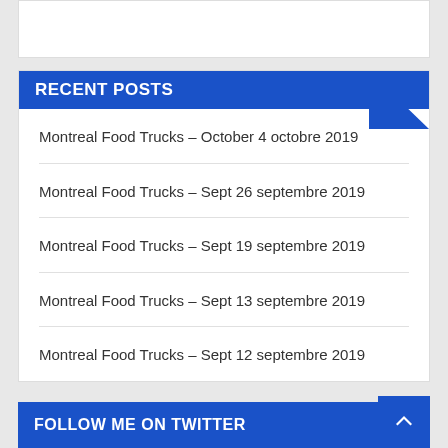RECENT POSTS
Montreal Food Trucks – October 4 octobre 2019
Montreal Food Trucks – Sept 26 septembre 2019
Montreal Food Trucks – Sept 19 septembre 2019
Montreal Food Trucks – Sept 13 septembre 2019
Montreal Food Trucks – Sept 12 septembre 2019
FOLLOW ME ON TWITTER